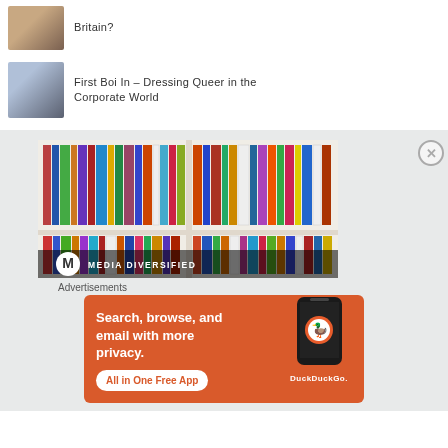[Figure (photo): Thumbnail photo of a person in white shirt]
Britain?
[Figure (photo): Thumbnail photo of two people]
First Boi In - Dressing Queer in the Corporate World
[Figure (photo): Media Diversified bookshelf banner image with logo and text MEDIA DIVERSIFIED]
Advertisements
[Figure (photo): DuckDuckGo advertisement: Search, browse, and email with more privacy. All in One Free App. DuckDuckGo.]